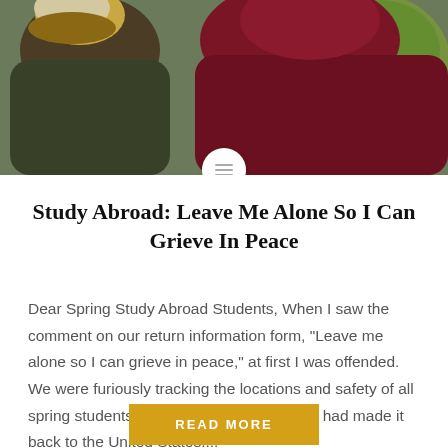[Figure (photo): Two people wearing winter coats (one olive/dark green with fur-trimmed hat, one dark maroon/burgundy) seen from behind, with yellow daffodil flowers in the background]
Study Abroad: Leave Me Alone So I Can Grieve In Peace
Dear Spring Study Abroad Students, When I saw the comment on our return information form, “Leave me alone so I can grieve in peace,” at first I was offended. We were furiously tracking the locations and safety of all spring students and needed to know if you had made it back to the United States....
READ MORE